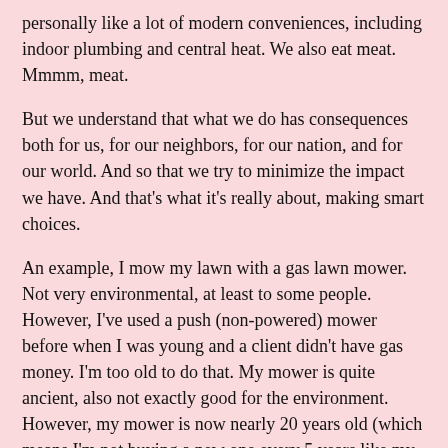personally like a lot of modern conveniences, including indoor plumbing and central heat. We also eat meat. Mmmm, meat.
But we understand that what we do has consequences both for us, for our neighbors, for our nation, and for our world. And so that we try to minimize the impact we have. And that's what it's really about, making smart choices.
An example, I mow my lawn with a gas lawn mower. Not very environmental, at least to some people. However, I've used a push (non-powered) mower before when I was young and a client didn't have gas money. I'm too old to do that. My mower is quite ancient, also not exactly good for the environment. However, my mower is now nearly 20 years old (which means I'm not buying a new one every 5 years like my neighbors, that reduces my carbon footprint). I maintain it very well to make it as efficient as it can me. And over half my property is wooded (carbon sink, no need to mow, lowers the ambient temperature of the yard and my house, etc). It's a trade off.
This is why electric cars work. Sure, they also pollute (pollution to make, pollution at the power plant to charge, tire waste, and other